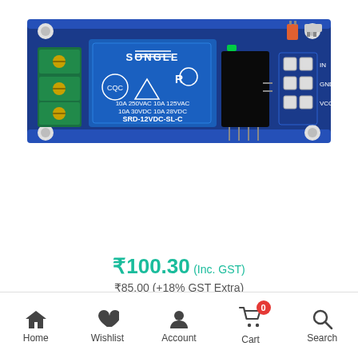[Figure (photo): A 12V 1-channel relay module with optocoupler (SRD-12VDC-SL-C SONGLE relay) on a blue PCB board, showing screw terminals on the left and control pins (IN, GND, VCC) on the right.]
₹100.30 (Inc. GST)
₹85.00 (+18% GST Extra)
12V 1 Channel Relay Module (with Optocoupler)
Home  Wishlist  Account  Cart  Search